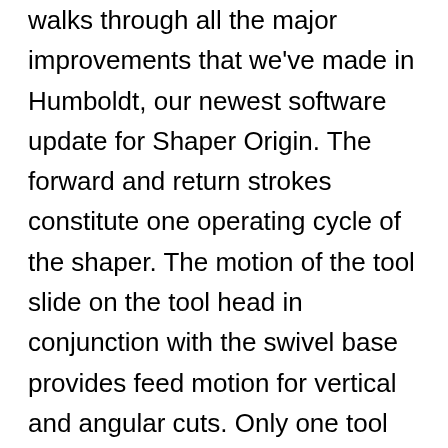walks through all the major improvements that we've made in Humboldt, our newest software update for Shaper Origin. The forward and return strokes constitute one operating cycle of the shaper. The motion of the tool slide on the tool head in conjunction with the swivel base provides feed motion for vertical and angular cuts. Only one tool use 6. The Tool is fixed whereas the worktable (workpiece) reciprocates over the tool. The shaper holds the single point cutting tool … To show other shape tools, click and hold the Rectangle tool in the Tools panel. • Tool head: The tool head in a dovetail at the front of the ram by means of T-bolts. During return, there is no cutting action and this stroke is called the idle stroke. 98 $10.99